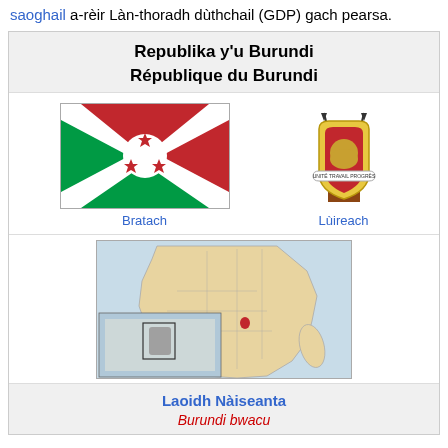saoghail a-rèir Làn-thoradh dùthchail (GDP) gach pearsa.
Republika y'u Burundi
République du Burundi
[Figure (illustration): Flag of Burundi: green and red diagonal quarters divided by a white diagonal cross, with three red six-pointed stars in the white circle at the center.]
Bratach
[Figure (illustration): Coat of arms of Burundi: a shield with a lion, crossed spears, and a scroll banner reading UNITÉ TRAVAIL PROGRÈS.]
Lùireach
[Figure (map): Map of Africa with Burundi highlighted in red, with an inset world map showing the region with a box around Africa.]
Laoidh Nàiseanta
Burundi bwacu